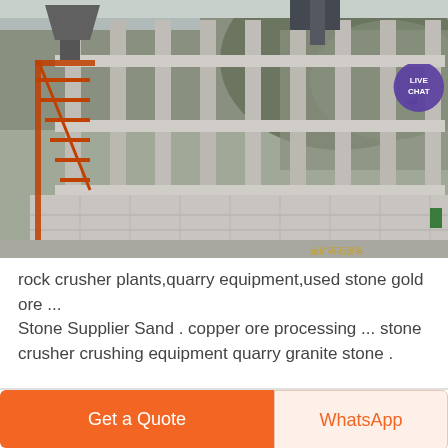[Figure (photo): Industrial quarry stone crushing plant facility with concrete columns, steel staircases, and construction equipment visible. Large multi-story concrete frame structure on a rocky hillside.]
rock crusher plants,quarry equipment,used stone gold ore ... Stone Supplier Sand . copper ore processing ... stone crusher crushing equipment quarry granite stone .
Get a Quote
WhatsApp